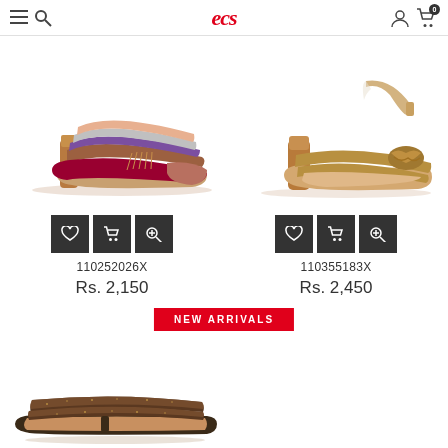ecs
[Figure (photo): Colorful striped high-heel mule sandal with purple, red, gray stripes on a white background]
[Figure (photo): Gold/bronze strappy high-heel sandal with knotted detail on a white background]
110252026X
Rs. 2,150
110355183X
Rs. 2,450
NEW ARRIVALS
[Figure (photo): Bronze/brown sparkly flat slide sandal with wide straps on a white background]